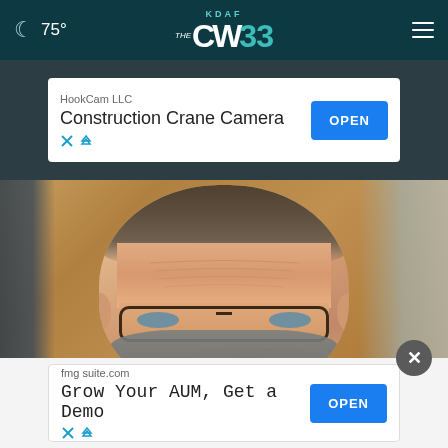☾ 75° | KDAF CW33 | ☰
[Figure (screenshot): Advertisement banner: HookCam LLC - Construction Crane Camera, with OPEN button]
[Figure (photo): Close-up photo of a middle-aged man with glasses pulled down, gray-brown hair, wearing a face mask pulled down below his nose, seated in what appears to be a hearing room with wood-paneled background]
[Figure (screenshot): Close button overlay (X) over the photo]
[Figure (screenshot): Advertisement banner: fmgsuite.com - Grow Your AUM, Get a Demo, with OPEN button]